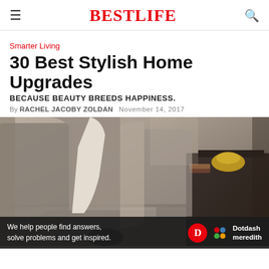BESTLIFE
Smarter Living
30 Best Stylish Home Upgrades
BECAUSE BEAUTY BREEDS HAPPINESS.
By RACHEL JACOBY ZOLDAN   NOVEMBER 14, 2017
[Figure (photo): A stylish grey armchair with a white blanket draped over it, beside a dark side table with gold decorative objects, in a cozy interior setting.]
We help people find answers, solve problems and get inspired. Dotdash meredith